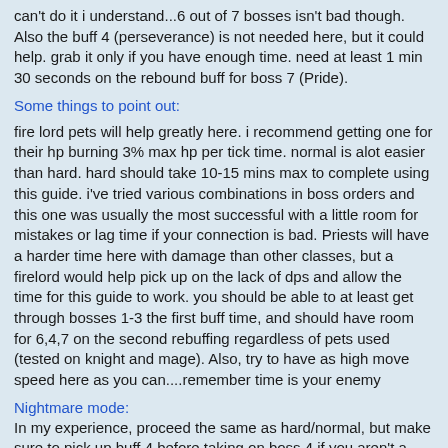can't do it i understand...6 out of 7 bosses isn't bad though. Also the buff 4 (perseverance) is not needed here, but it could help. grab it only if you have enough time. need at least 1 min 30 seconds on the rebound buff for boss 7 (Pride).
Some things to point out:
fire lord pets will help greatly here. i recommend getting one for their hp burning 3% max hp per tick time. normal is alot easier than hard. hard should take 10-15 mins max to complete using this guide. i've tried various combinations in boss orders and this one was usually the most successful with a little room for mistakes or lag time if your connection is bad. Priests will have a harder time here with damage than other classes, but a firelord would help pick up on the lack of dps and allow the time for this guide to work. you should be able to at least get through bosses 1-3 the first buff time, and should have room for 6,4,7 on the second rebuffing regardless of pets used (tested on knight and mage). Also, try to have as high move speed here as you can....remember time is your enemy
Nightmare mode:
In my experience, proceed the same as hard/normal, but make sure to pick up buff 4 before taking on boss 4 if you aren't a knight with good defense. my mage testing couldn't solo the last boss, and the priest died on boss 4 (Wrath) regardless of my methods to do it (mage suffered but dps enough to kill before death). Nightmare is extremely hard